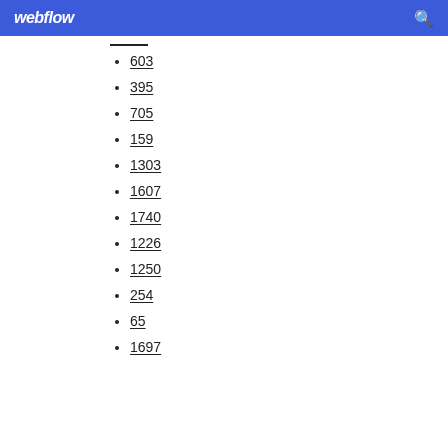webflow
603
395
705
159
1303
1607
1740
1226
1250
254
65
1697